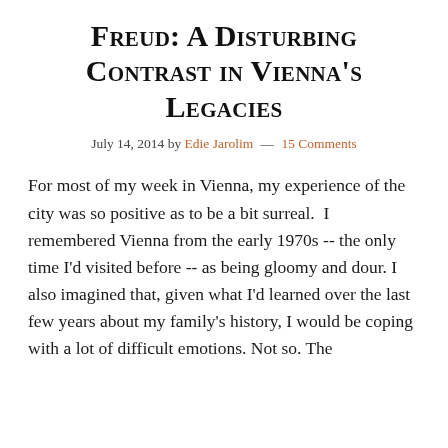Freud: A Disturbing Contrast in Vienna's Legacies
July 14, 2014 by Edie Jarolim — 15 Comments
For most of my week in Vienna, my experience of the city was so positive as to be a bit surreal.  I remembered Vienna from the early 1970s -- the only time I'd visited before -- as being gloomy and dour. I also imagined that, given what I'd learned over the last few years about my family's history, I would be coping with a lot of difficult emotions. Not so. The